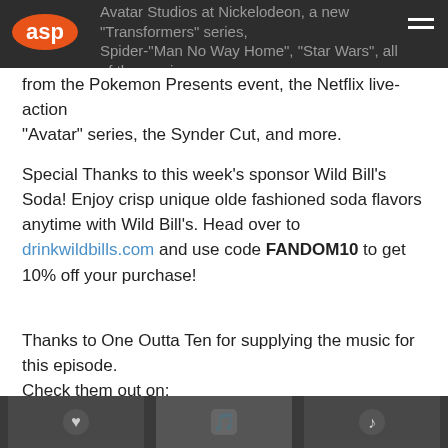Avatar Studios at Nickelodeon, a new 'Transformers' series, Spider-Man No Way Home, Star Wars, all of the craziness from the Pokemon Presents event, the Netflix live-action 'Avatar' series, the Synder Cut, and more.
Special Thanks to this week's sponsor Wild Bill's Soda! Enjoy crisp unique olde fashioned soda flavors anytime with Wild Bill's. Head over to drinkwildbills.com and use code FANDOM10 to get 10% off your purchase!
Thanks to One Outta Ten for supplying the music for this episode.
Check them out on:
Instagram @one_outta_ten
Spotify at One Outta Ten